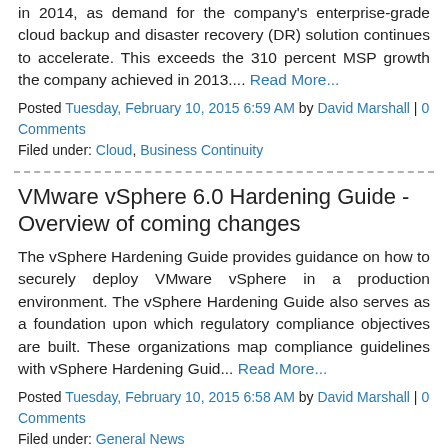in 2014, as demand for the company's enterprise-grade cloud backup and disaster recovery (DR) solution continues to accelerate. This exceeds the 310 percent MSP growth the company achieved in 2013....
Read More...
Posted Tuesday, February 10, 2015 6:59 AM by David Marshall | 0 Comments
Filed under: Cloud, Business Continuity
VMware vSphere 6.0 Hardening Guide - Overview of coming changes
The vSphere Hardening Guide provides guidance on how to securely deploy VMware vSphere in a production environment. The vSphere Hardening Guide also serves as a foundation upon which regulatory compliance objectives are built. These organizations map compliance guidelines with vSphere Hardening Guid... Read More...
Posted Tuesday, February 10, 2015 6:58 AM by David Marshall | 0 Comments
Filed under: General News
2X Teams Up with Actual Virtual - A Leading Distributor in the UK
2X Software, a global leader in mobile device